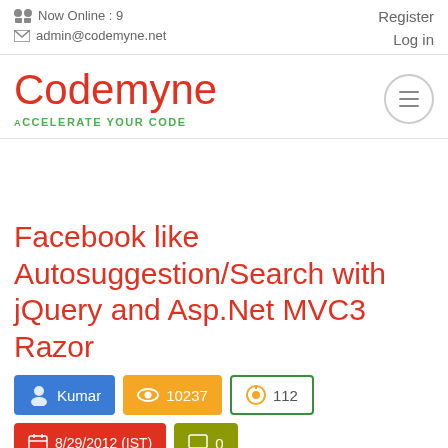Now Online : 9   admin@codemyne.net   Register   Log in
Codemyne
ACCELERATE YOUR CODE
Facebook like Autosuggestion/Search with jQuery and Asp.Net MVC3 Razor
Kumar   10237   112   8/29/2012 (IST)   0